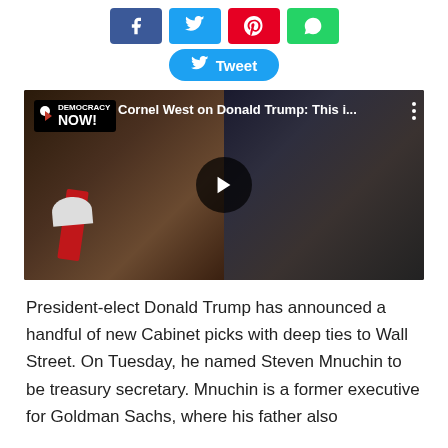[Figure (other): Social share buttons row: Facebook (blue), Twitter (light blue), Pinterest (red), WhatsApp (green)]
[Figure (other): Twitter Tweet button in cyan/blue rounded style]
[Figure (other): Video thumbnail showing Democracy Now! broadcast with Cornel West on Donald Trump. Title overlay reads: 'Cornel West on Donald Trump: This i...' with play button in center.]
President-elect Donald Trump has announced a handful of new Cabinet picks with deep ties to Wall Street. On Tuesday, he named Steven Mnuchin to be treasury secretary. Mnuchin is a former executive for Goldman Sachs, where his father also